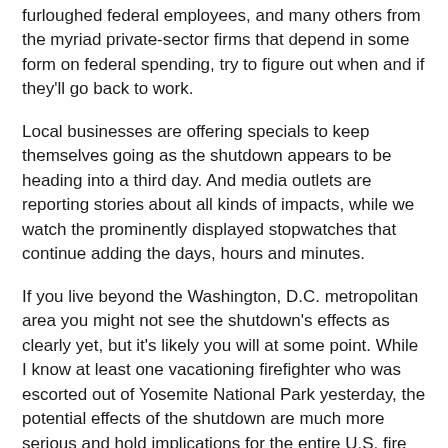furloughed federal employees, and many others from the myriad private-sector firms that depend in some form on federal spending, try to figure out when and if they'll go back to work.
Local businesses are offering specials to keep themselves going as the shutdown appears to be heading into a third day. And media outlets are reporting stories about all kinds of impacts, while we watch the prominently displayed stopwatches that continue adding the days, hours and minutes.
If you live beyond the Washington, D.C. metropolitan area you might not see the shutdown's effects as clearly yet, but it's likely you will at some point. While I know at least one vacationing firefighter who was escorted out of Yosemite National Park yesterday, the potential effects of the shutdown are much more serious and hold implications for the entire U.S. fire service.